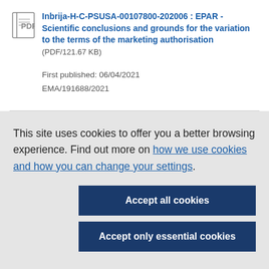Inbrija-H-C-PSUSA-00107800-202006 : EPAR - Scientific conclusions and grounds for the variation to the terms of the marketing authorisation (PDF/121.67 KB)
First published: 06/04/2021
EMA/191688/2021
This site uses cookies to offer you a better browsing experience. Find out more on how we use cookies and how you can change your settings.
Accept all cookies
Accept only essential cookies